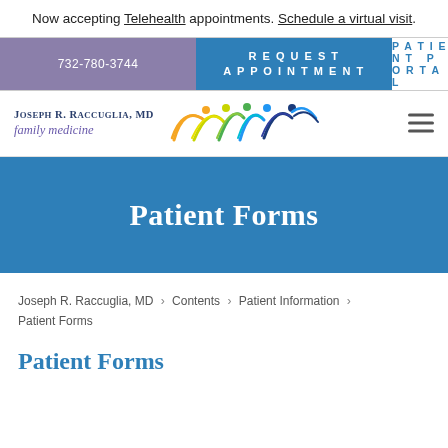Now accepting Telehealth appointments. Schedule a virtual visit.
732-780-3744 | REQUEST APPOINTMENT | PATIENT PORTAL
[Figure (logo): Joseph R. Raccuglia, MD family medicine logo with colorful abstract human figures]
Patient Forms
Joseph R. Raccuglia, MD > Contents > Patient Information > Patient Forms
Patient Forms